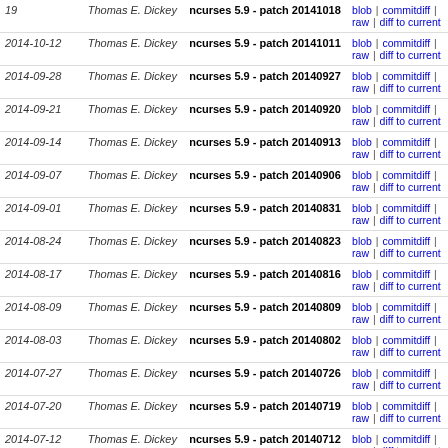| Date | Author | Commit | Links |
| --- | --- | --- | --- |
| 19 | Thomas E. Dickey | ncurses 5.9 - patch 20141018 | blob | commitdiff | raw | diff to current |
| 2014-10-12 | Thomas E. Dickey | ncurses 5.9 - patch 20141011 | blob | commitdiff | raw | diff to current |
| 2014-09-28 | Thomas E. Dickey | ncurses 5.9 - patch 20140927 | blob | commitdiff | raw | diff to current |
| 2014-09-21 | Thomas E. Dickey | ncurses 5.9 - patch 20140920 | blob | commitdiff | raw | diff to current |
| 2014-09-14 | Thomas E. Dickey | ncurses 5.9 - patch 20140913 | blob | commitdiff | raw | diff to current |
| 2014-09-07 | Thomas E. Dickey | ncurses 5.9 - patch 20140906 | blob | commitdiff | raw | diff to current |
| 2014-09-01 | Thomas E. Dickey | ncurses 5.9 - patch 20140831 | blob | commitdiff | raw | diff to current |
| 2014-08-24 | Thomas E. Dickey | ncurses 5.9 - patch 20140823 | blob | commitdiff | raw | diff to current |
| 2014-08-17 | Thomas E. Dickey | ncurses 5.9 - patch 20140816 | blob | commitdiff | raw | diff to current |
| 2014-08-09 | Thomas E. Dickey | ncurses 5.9 - patch 20140809 | blob | commitdiff | raw | diff to current |
| 2014-08-03 | Thomas E. Dickey | ncurses 5.9 - patch 20140802 | blob | commitdiff | raw | diff to current |
| 2014-07-27 | Thomas E. Dickey | ncurses 5.9 - patch 20140726 | blob | commitdiff | raw | diff to current |
| 2014-07-20 | Thomas E. Dickey | ncurses 5.9 - patch 20140719 | blob | commitdiff | raw | diff to current |
| 2014-07-12 | Thomas E. Dickey | ncurses 5.9 - patch 20140712 | blob | commitdiff | raw | diff to current |